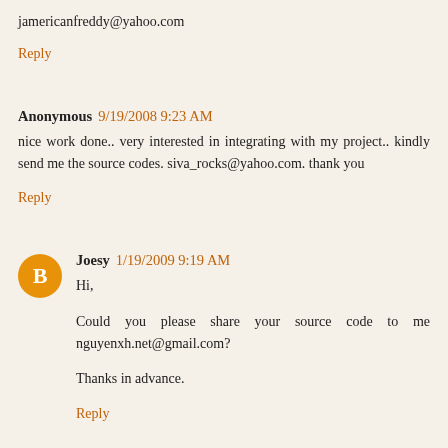jamericanfreddy@yahoo.com
Reply
Anonymous 9/19/2008 9:23 AM
nice work done.. very interested in integrating with my project.. kindly send me the source codes. siva_rocks@yahoo.com. thank you
Reply
Joesy 1/19/2009 9:19 AM
Hi,
Could you please share your source code to me nguyenxh.net@gmail.com?
Thanks in advance.
Reply